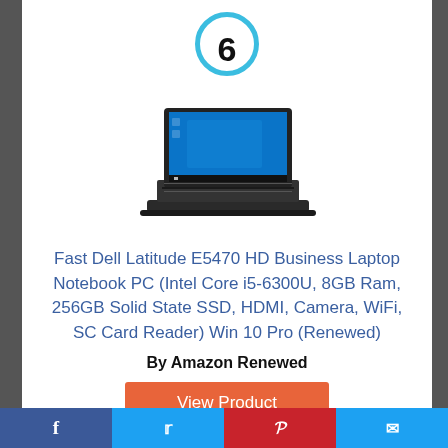6
[Figure (photo): Dell Latitude E5470 laptop open, showing Windows 10 desktop on screen, viewed from a slight angle]
Fast Dell Latitude E5470 HD Business Laptop Notebook PC (Intel Core i5-6300U, 8GB Ram, 256GB Solid State SSD, HDMI, Camera, WiFi, SC Card Reader) Win 10 Pro (Renewed)
By Amazon Renewed
View Product
$329.99
Facebook | Twitter | Pinterest | Email